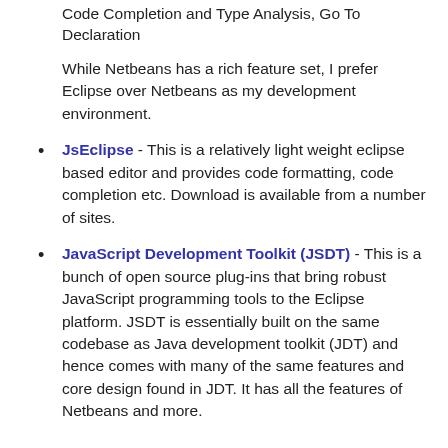Code Completion and Type Analysis, Go To Declaration
While Netbeans has a rich feature set, I prefer Eclipse over Netbeans as my development environment.
JsEclipse - This is a relatively light weight eclipse based editor and provides code formatting, code completion etc. Download is available from a number of sites.
JavaScript Development Toolkit (JSDT) - This is a bunch of open source plug-ins that bring robust JavaScript programming tools to the Eclipse platform. JSDT is essentially built on the same codebase as Java development toolkit (JDT) and hence comes with many of the same features and core design found in JDT. It has all the features of Netbeans and more.